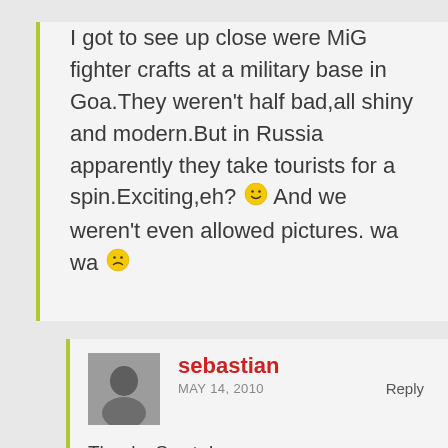I got to see up close were MiG fighter crafts at a military base in Goa.They weren't half bad,all shiny and modern.But in Russia apparently they take tourists for a spin.Exciting,eh? 😀 And we weren't even allowed pictures. wa wa 😕
[Figure (photo): Small black and white avatar photo of a person]
sebastian
MAY 14, 2010
Reply
Thanks Sweta! I actually have a photo of a MiG 21. I just didn't